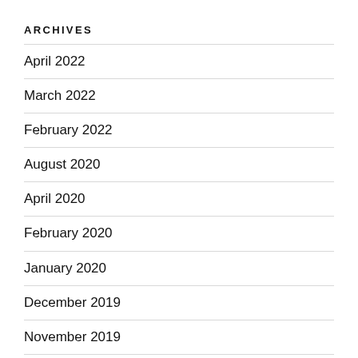ARCHIVES
April 2022
March 2022
February 2022
August 2020
April 2020
February 2020
January 2020
December 2019
November 2019
October 2019